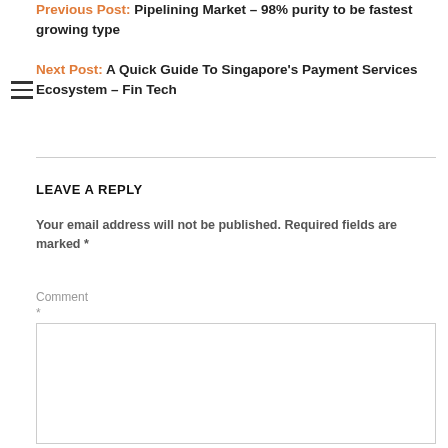Previous Post: Pipelining Market – 98% purity to be fastest growing type
Next Post: A Quick Guide To Singapore's Payment Services Ecosystem – Fin Tech
LEAVE A REPLY
Your email address will not be published. Required fields are marked *
Comment *